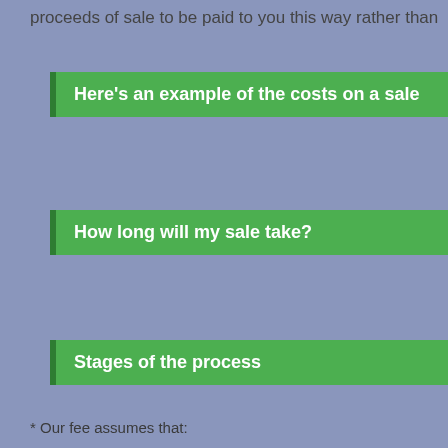proceeds of sale to be paid to you this way rather than
Here's an example of the costs on a sale
How long will my sale take?
Stages of the process
* Our fee assumes that: